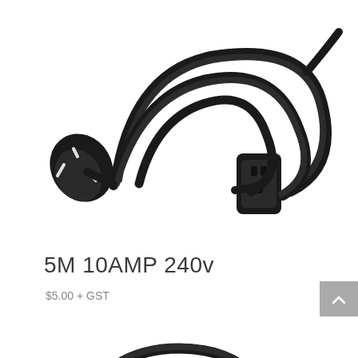[Figure (photo): Black 5M 10AMP 240v extension power cord coiled with male plug on left and female socket on right, on white background]
5M 10AMP 240v
$5.00 + GST
[Figure (photo): Bottom portion of another black power extension cord coiled, on white background, partially visible]